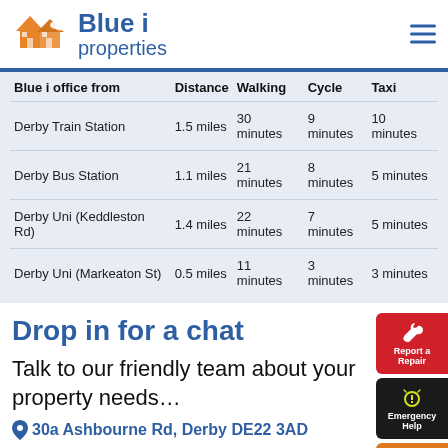Blue i properties
| Blue i office from | Distance | Walking | Cycle | Taxi |
| --- | --- | --- | --- | --- |
| Derby Train Station | 1.5 miles | 30 minutes | 9 minutes | 10 minutes |
| Derby Bus Station | 1.1 miles | 21 minutes | 8 minutes | 5 minutes |
| Derby Uni (Keddleston Rd) | 1.4 miles | 22 minutes | 7 minutes | 5 minutes |
| Derby Uni (Markeaton St) | 0.5 miles | 11 minutes | 3 minutes | 3 minutes |
Drop in for a chat
Talk to our friendly team about your property needs…
30a Ashbourne Rd, Derby DE22 3AD